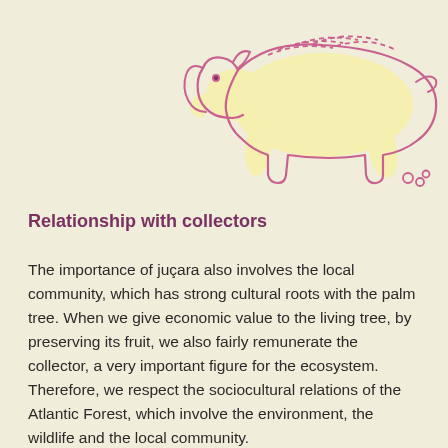[Figure (illustration): Line illustration of a tapir (or similar animal) with a yellowish body and pink/purple outline, shown in profile walking, with dashed lines on its back suggesting markings. Small circular objects near its feet.]
Relationship with collectors
The importance of juçara also involves the local community, which has strong cultural roots with the palm tree. When we give economic value to the living tree, by preserving its fruit, we also fairly remunerate the collector, a very important figure for the ecosystem. Therefore, we respect the sociocultural relations of the Atlantic Forest, which involve the environment, the wildlife and the local community.